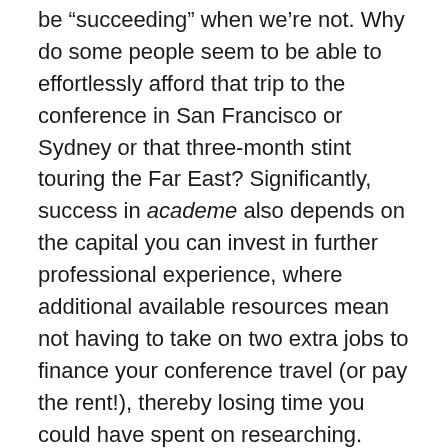be “succeeding” when we’re not. Why do some people seem to be able to effortlessly afford that trip to the conference in San Francisco or Sydney or that three-month stint touring the Far East? Significantly, success in academe also depends on the capital you can invest in further professional experience, where additional available resources mean not having to take on two extra jobs to finance your conference travel (or pay the rent!), thereby losing time you could have spent on researching. Success, in the form of useful capital, builds on itself.
As someone who’s currently riding out my second large merit-based scholarship, obviously I have extremely mixed feelings about the concept of “merit”… on the one hand I represent, statistically, an aberration that should prove the effectiveness of